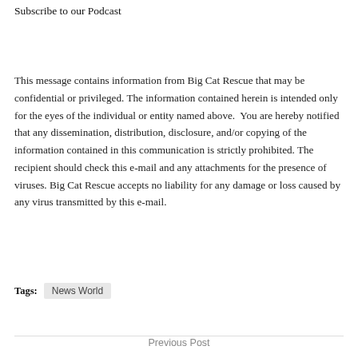Subscribe to our Podcast
This message contains information from Big Cat Rescue that may be confidential or privileged. The information contained herein is intended only for the eyes of the individual or entity named above.  You are hereby notified that any dissemination, distribution, disclosure, and/or copying of the information contained in this communication is strictly prohibited. The recipient should check this e-mail and any attachments for the presence of viruses. Big Cat Rescue accepts no liability for any damage or loss caused by any virus transmitted by this e-mail.
Tags: News World
Previous Post